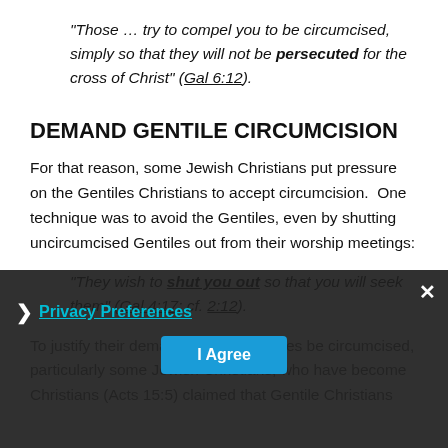“Those … try to compel you to be circumcised, simply so that they will not be persecuted for the cross of Christ” (Gal 6:12).
DEMAND GENTILE CIRCUMCISION
For that reason, some Jewish Christians put pressure on the Gentiles Christians to accept circumcision.  One technique was to avoid the Gentiles, even by shutting uncircumcised Gentiles out from their worship meetings:
“They wish to shut you out so that you will seek them” (Gal 4:17; cf. 2:12).
To justify their demand that the Gentiles be circumcised, particularly some Jewish Christians, who have become Christians (Acts 15:5) claimed that Gentile Christians